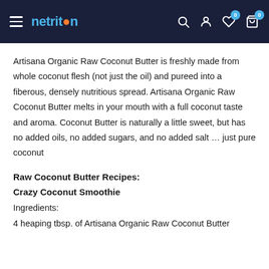netrition
Artisana Organic Raw Coconut Butter is freshly made from whole coconut flesh (not just the oil) and pureed into a fiberous, densely nutritious spread. Artisana Organic Raw Coconut Butter melts in your mouth with a full coconut taste and aroma. Coconut Butter is naturally a little sweet, but has no added oils, no added sugars, and no added salt … just pure coconut
Raw Coconut Butter Recipes:
Crazy Coconut Smoothie
Ingredients:
4 heaping tbsp. of Artisana Organic Raw Coconut Butter